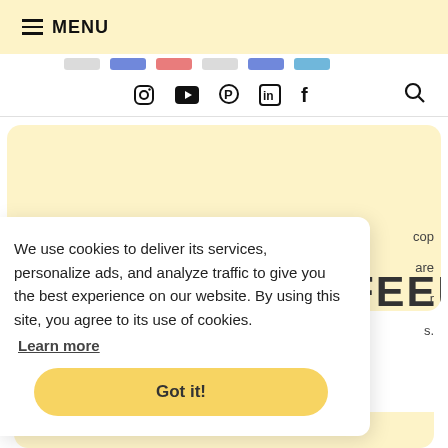≡ MENU
[Figure (screenshot): Partial social media / partner logos strip]
[Figure (screenshot): Social media navigation icons: Instagram, YouTube, Pinterest, LinkedIn, Facebook, and a search icon]
LOOK GREAT, FEEL...
We use cookies to deliver its services, personalize ads, and analyze traffic to give you the best experience on our website. By using this site, you agree to its use of cookies.
Learn more
Got it!
cop are r s.